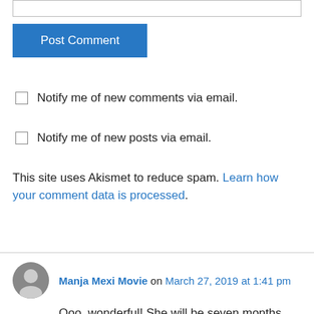[Figure (other): Text input box at top of page]
Post Comment
Notify me of new comments via email.
Notify me of new posts via email.
This site uses Akismet to reduce spam. Learn how your comment data is processed.
Manja Mexi Movie on March 27, 2019 at 1:41 pm
Ooo, wonderful! She will be seven months soon. Time surely runs. 🙂 I wish her well and all of you with her.

I thought I'd skip children and go straight to